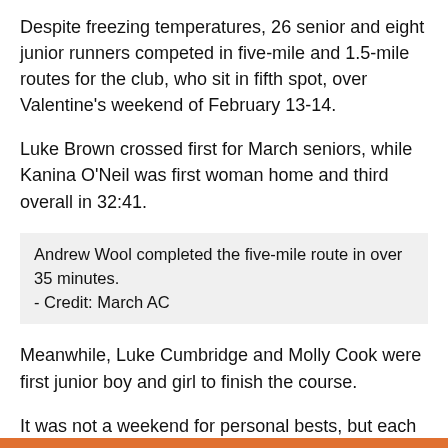Despite freezing temperatures, 26 senior and eight junior runners competed in five-mile and 1.5-mile routes for the club, who sit in fifth spot, over Valentine's weekend of February 13-14.
Luke Brown crossed first for March seniors, while Kanina O'Neil was first woman home and third overall in 32:41.
Andrew Wool completed the five-mile route in over 35 minutes. - Credit: March AC
Meanwhile, Luke Cumbridge and Molly Cook were first junior boy and girl to finish the course.
It was not a weekend for personal bests, but each runner showed grit and determination to carry on, as they return to league action between March 13-14.